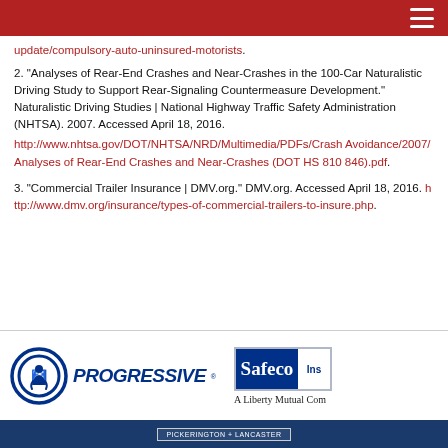update/compulsory-auto-uninsured-motorists.
2. "Analyses of Rear-End Crashes and Near-Crashes in the 100-Car Naturalistic Driving Study to Support Rear-Signaling Countermeasure Development." Naturalistic Driving Studies | National Highway Traffic Safety Administration (NHTSA). 2007. Accessed April 18, 2016. http://www.nhtsa.gov/DOT/NHTSA/NRD/Multimedia/PDFs/CrashAvoidance/2007/Analyses of Rear-End Crashes and Near-Crashes (DOT HS 810 846).pdf.
3. "Commercial Trailer Insurance | DMV.org." DMV.org. Accessed April 18, 2016. http://www.dmv.org/insurance/types-of-commercial-trailers-to-insure.php.
[Figure (logo): Progressive insurance logo with circular icon and blue PROGRESSIVE text]
[Figure (logo): Safeco Insurance A Liberty Mutual Company logo]
PICKERINGTON + LANCASTER